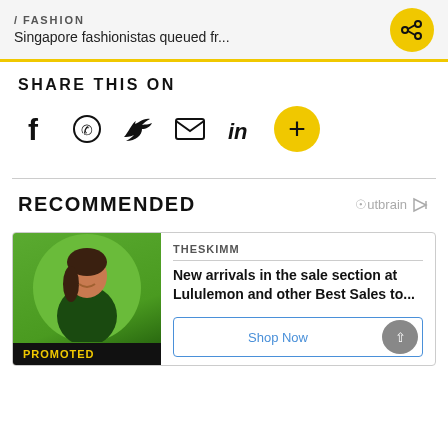/ FASHION — Singapore fashionistas queued fr...
SHARE THIS ON
[Figure (infographic): Social sharing icons: Facebook, WhatsApp, Twitter, Email, LinkedIn, plus yellow circle with plus]
RECOMMENDED
[Figure (logo): Outbrain logo]
[Figure (photo): Promoted card: TheSkimm – New arrivals in the sale section at Lululemon and other Best Sales to... with Shop Now button. Woman in green jacket circular photo with PROMOTED badge.]